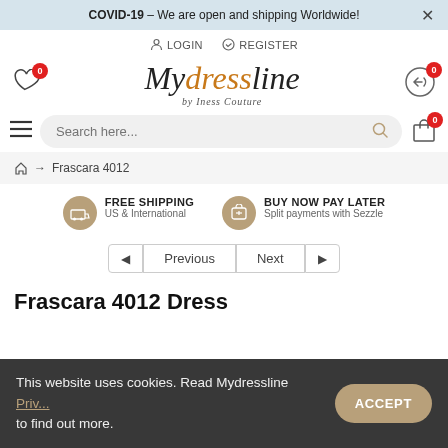COVID-19 – We are open and shipping Worldwide! ×
LOGIN   REGISTER
[Figure (logo): Mydressline by Iness Couture logo with wishlist and returns icons]
Search here...
🏠 → Frascara 4012
FREE SHIPPING US & International   BUY NOW PAY LATER Split payments with Sezzle
◄ Previous   Next ►
Frascara 4012 Dress
This website uses cookies. Read Mydressline Privacy Policy to find out more.